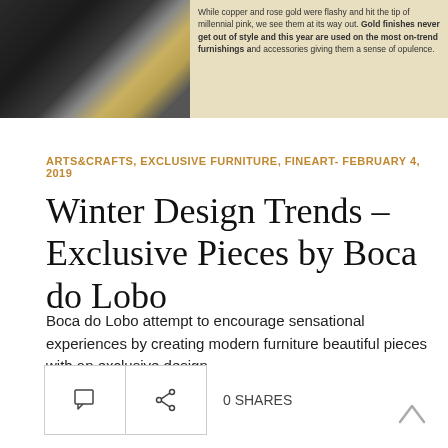[Figure (photo): Left portion: decorative lamp or furniture piece with dark metallic and gold tones. Right portion: cream/beige background with partially visible text about copper and rose gold finishing trends and gold finishes.]
While copper and rose gold were flashy and hit the tip of millennial pink, we see them at its way out. Gold finishes never get out of style and this year are used on the most on-trend furnishings and accessories giving them a sense of opulence.
ARTS&CRAFTS, EXCLUSIVE FURNITURE, FINEART- FEBRUARY 4, 2019
Winter Design Trends – Exclusive Pieces by Boca do Lobo
Boca do Lobo attempt to encourage sensational experiences by creating modern furniture beautiful pieces with an exclusive design
0 SHARES